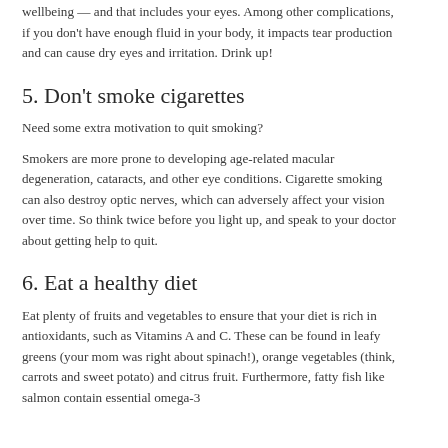Staying hydrated is crucial for your body's overall health and wellbeing — and that includes your eyes. Among other complications, if you don't have enough fluid in your body, it impacts tear production and can cause dry eyes and irritation. Drink up!
5. Don't smoke cigarettes
Need some extra motivation to quit smoking?
Smokers are more prone to developing age-related macular degeneration, cataracts, and other eye conditions. Cigarette smoking can also destroy optic nerves, which can adversely affect your vision over time. So think twice before you light up, and speak to your doctor about getting help to quit.
6. Eat a healthy diet
Eat plenty of fruits and vegetables to ensure that your diet is rich in antioxidants, such as Vitamins A and C. These can be found in leafy greens (your mom was right about spinach!), orange vegetables (think, carrots and sweet potato) and citrus fruit. Furthermore, fatty fish like salmon contain essential omega-3